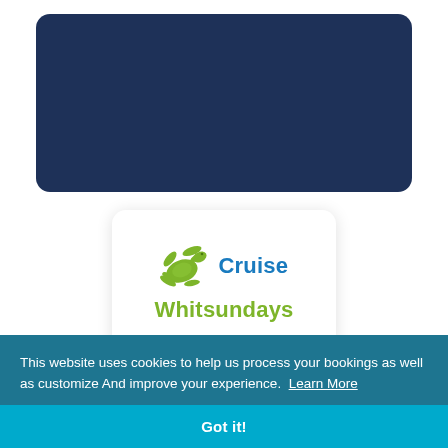[Figure (other): Dark navy blue rounded rectangle placeholder box]
[Figure (logo): Cruise Whitsundays logo: green turtle swimming left with blue 'Cruise' text and green 'Whitsundays' text below, on white rounded card]
This website uses cookies to help us process your bookings as well as customize And improve your experience. Learn More
Got it!